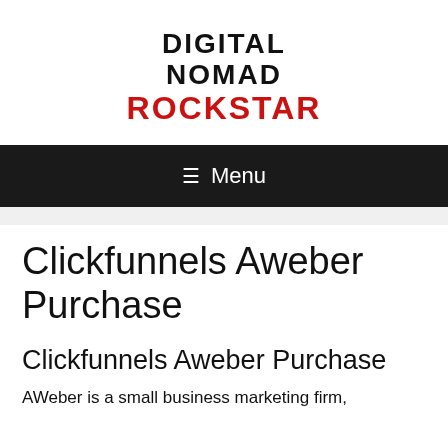DIGITAL NOMAD ROCKSTAR
≡ Menu
Clickfunnels Aweber Purchase
Clickfunnels Aweber Purchase
AWeber is a small business marketing firm,